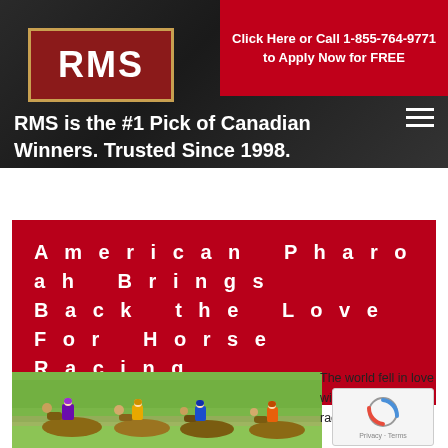[Figure (logo): RMS logo — red background with gold border, white bold text 'RMS']
Click Here or Call 1-855-764-9771 to Apply Now for FREE
RMS is the #1 Pick of Canadian Winners. Trusted Since 1998.
American Pharoah Brings Back the Love For Horse Racing
[Figure (photo): Horse racing photo showing multiple jockeys and horses racing on a green turf track]
The world fell in love with American Pharoah... horse racing